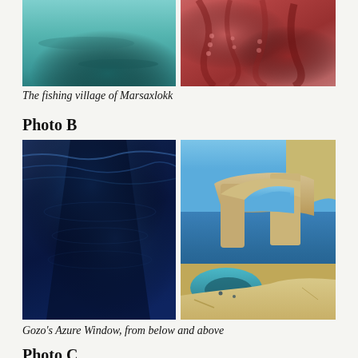[Figure (photo): Two photos side by side: left shows teal-green water of fishing village Marsaxlokk; right shows close-up of octopus tentacles in reddish-pink tones]
The fishing village of Marsaxlokk
Photo B
[Figure (photo): Two photos side by side: left shows deep blue underwater scene from below the surface looking up through water; right shows Gozo's Azure Window rock arch formation over the sea with a natural pool below]
Gozo's Azure Window, from below and above
Photo C